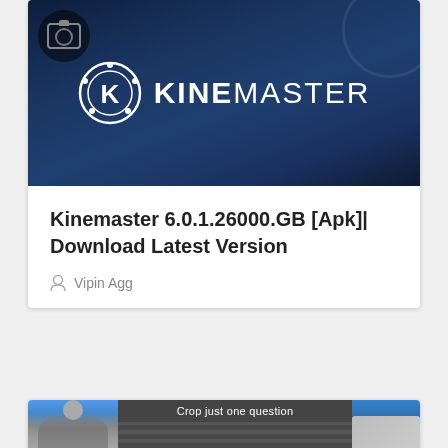[Figure (screenshot): KineMaster app logo on dark navy background — circular K icon with dots and KINEMASTER text in white]
Kinemaster 6.0.1.26000.GB [Apk]| Download Latest Version
Vipin Agg
[Figure (screenshot): Mobile app screenshot showing 'Crop just one question' dialog with striped background, crop handles visible, flanked by photos of people]